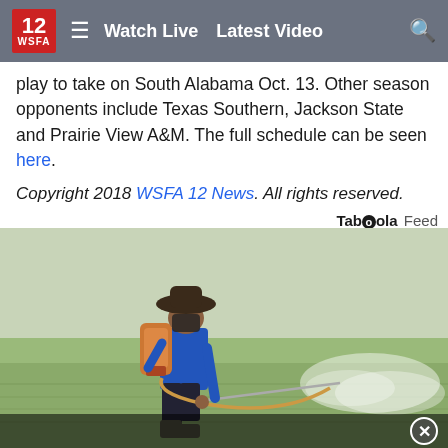12 WSFA | Watch Live | Latest Video
play to take on South Alabama Oct. 13. Other season opponents include Texas Southern, Jackson State and Prairie View A&M. The full schedule can be seen here.
Copyright 2018 WSFA 12 News. All rights reserved.
Taboola Feed
[Figure (photo): A farmer wearing a wide-brim hat and blue long-sleeve shirt, carrying a backpack sprayer, spraying pesticide over a green rice paddy field.]